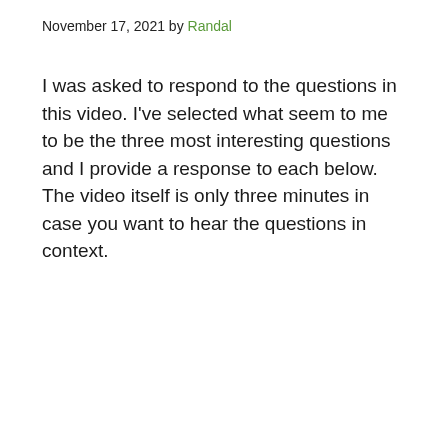November 17, 2021 by Randal
I was asked to respond to the questions in this video. I've selected what seem to me to be the three most interesting questions and I provide a response to each below. The video itself is only three minutes in case you want to hear the questions in context.